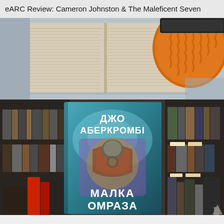eARC Review: Cameron Johnston & The Maleficent Seven
[Figure (photo): Top-down photo of an open book with text pages visible, an orange knitted textile object in the upper right, and a dark smartphone/tablet in the upper right corner, on a light blue-grey surface.]
[Figure (photo): A book with a teal/blue cover displayed in front of a bookshelf filled with books. The cover shows Cyrillic text reading 'Джо Аберкромби' (Joe Abercrombie) at the top and 'МАЛКА ОМРАЗА' (The Maleficent Seven) at the bottom, with an armored figure in the center. Books are visible on shelves behind and to the sides, and a red object is partially visible on the lower left.]